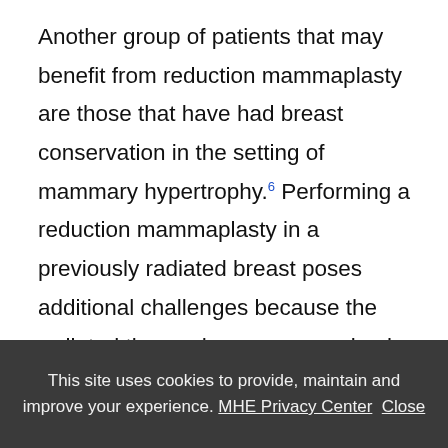Another group of patients that may benefit from reduction mammaplasty are those that have had breast conservation in the setting of mammary hypertrophy.6 Performing a reduction mammaplasty in a previously radiated breast poses additional challenges because the radiated tissues have compromised vascularity, increased fibrosis, and are more prone to adverse events such as fat necrosis and delayed healing. Technical modifications are necessary to ensure predictable
This site uses cookies to provide, maintain and improve your experience. MHE Privacy Center  Close